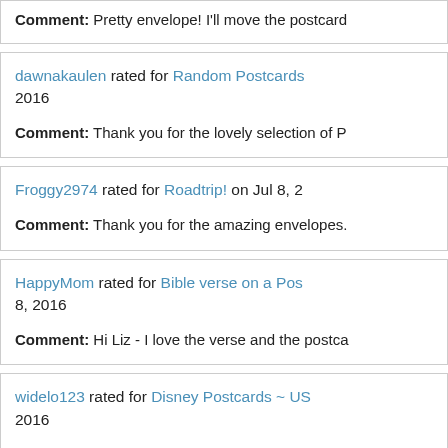Comment: Pretty envelope! I'll move the postcard...
dawnakaulen rated for Random Postcards... 2016
Comment: Thank you for the lovely selection of Po...
Froggy2974 rated for Roadtrip! on Jul 8, 2...
Comment: Thank you for the amazing envelopes.
HappyMom rated for Bible verse on a Pos... 8, 2016
Comment: Hi Liz - I love the verse and the postca...
widelo123 rated for Disney Postcards ~ US... 2016
Comment: Liz, thank you. The Cheshire cat is on c...